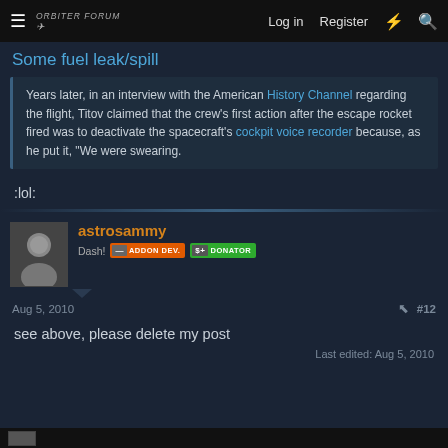Orbiter Forum — Log in  Register
Some fuel leak/spill
Years later, in an interview with the American History Channel regarding the flight, Titov claimed that the crew's first action after the escape rocket fired was to deactivate the spacecraft's cockpit voice recorder because, as he put it, "We were swearing."
:lol:
astrosammy
Dash!  ADDON DEV.  DONATOR
Aug 5, 2010  #12
see above, please delete my post
Last edited: Aug 5, 2010